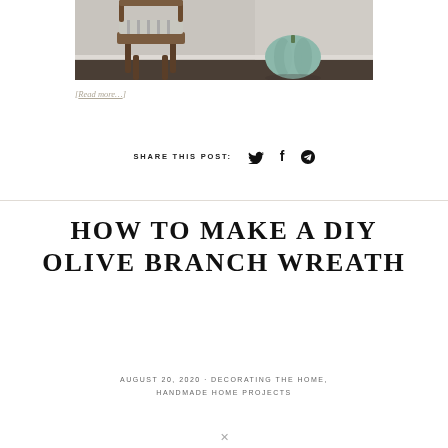[Figure (photo): Photo of a wooden chair with striped cushion and a teal/sage green pumpkin on a dark hardwood floor against a light wall]
[Read more…]
SHARE THIS POST:  🐦  f  𝑃
HOW TO MAKE A DIY OLIVE BRANCH WREATH
AUGUST 20, 2020 · DECORATING THE HOME, HANDMADE HOME PROJECTS